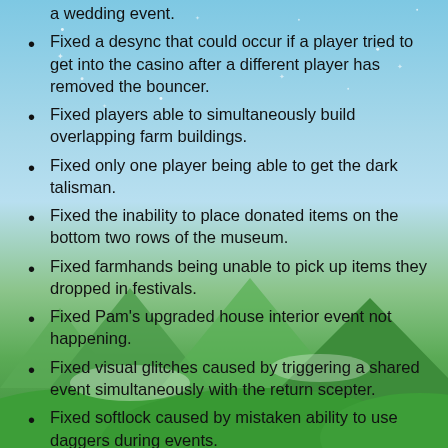a wedding event.
Fixed a desync that could occur if a player tried to get into the casino after a different player has removed the bouncer.
Fixed players able to simultaneously build overlapping farm buildings.
Fixed only one player being able to get the dark talisman.
Fixed the inability to place donated items on the bottom two rows of the museum.
Fixed farmhands being unable to pick up items they dropped in festivals.
Fixed Pam's upgraded house interior event not happening.
Fixed visual glitches caused by triggering a shared event simultaneously with the return scepter.
Fixed softlock caused by mistaken ability to use daggers during events.
Fixed players all receiving the same personal overnight events on the same day (e.g., spouse asking if you want